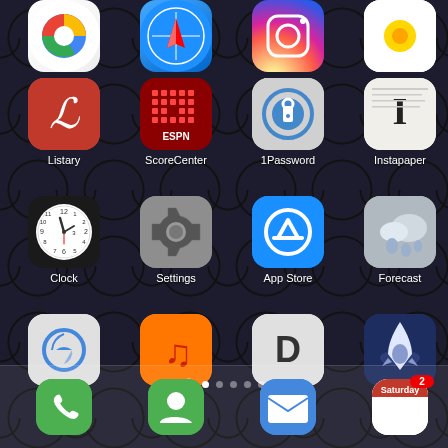[Figure (screenshot): iPhone home screen showing app icons in a 4-column grid layout on a dark damask wallpaper. Row 1 (partial, top): Chrome, Safari, Instagram, Photos. Row 2: Listary, ScoreCenter, 1Password, Instapaper. Row 3: Clock, Settings, App Store, Forecast. Row 4: Simplenote, Music, Drafts, Launch. Page dots indicator below. Dock at bottom with Phone, Contacts, Mail, and a calendar app showing Saturday with badge 2.]